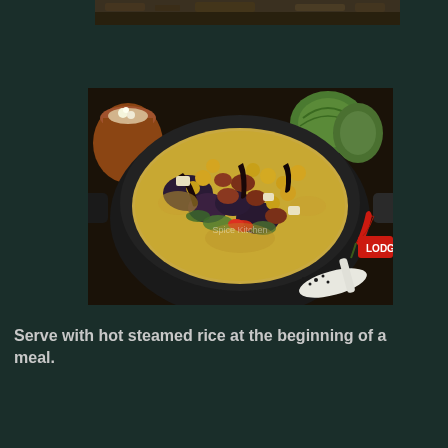[Figure (photo): Top partial image showing a dark food dish on dark background]
[Figure (photo): A black ceramic pot/wok containing a curry or stew dish with vegetables, chickpeas, eggplant, red chili peppers, and other ingredients in a yellowish sauce. Surrounded by onions, a clay pot, and a white spoon on the side.]
Serve with hot steamed rice at the beginning of a meal.